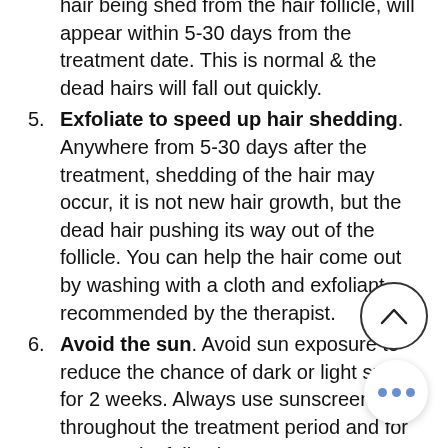hair being shed from the hair follicle, will appear within 5-30 days from the treatment date. This is normal & the dead hairs will fall out quickly.
5. Exfoliate to speed up hair shedding. Anywhere from 5-30 days after the treatment, shedding of the hair may occur, it is not new hair growth, but the dead hair pushing its way out of the follicle. You can help the hair come out by washing with a cloth and exfoliant recommended by the therapist.
6. Avoid the sun. Avoid sun exposure to reduce the chance of dark or light spots for 2 weeks. Always use sunscreen throughout the treatment period and for 1-2 months following.
7. Do not pick/scratch/wax/thread/twe the area. Avoid picking or scrat the treated skin. Do not use any other